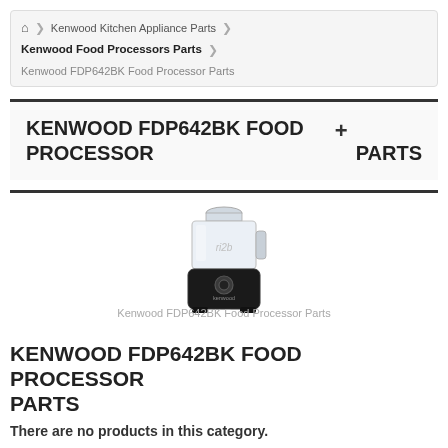Home > Kenwood Kitchen Appliance Parts > Kenwood Food Processors Parts > Kenwood FDP642BK Food Processor Parts
KENWOOD FDP642BK FOOD PROCESSOR PARTS +
[Figure (photo): Photo of Kenwood FDP642BK Food Processor, a black appliance with a clear bowl and lid, with watermark overlay reading 'FDP642BK'. Caption: Kenwood FDP642BK Food Processor Parts]
KENWOOD FDP642BK FOOD PROCESSOR PARTS
There are no products in this category.